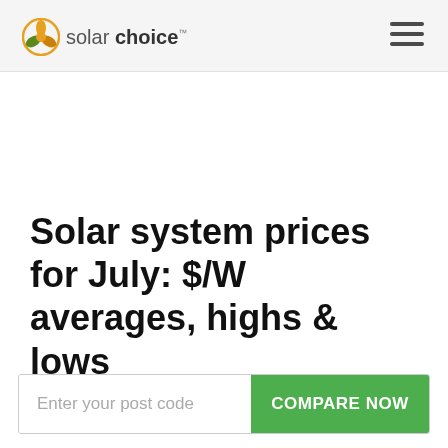Solar Choice
Solar system prices for July: $/W averages, highs & lows
Enter your post code
COMPARE NOW